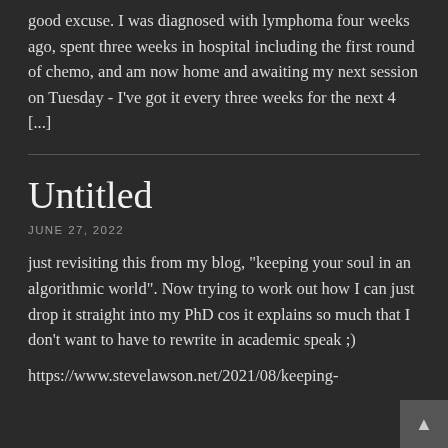good excuse. I was diagnosed with lymphoma four weeks ago, spent three weeks in hospital including the first round of chemo, and am now home and awaiting my next session on Tuesday - I've got it every three weeks for the next 4 [...]
Untitled
JUNE 27, 2022
just revisiting this from my blog, "keeping your soul in an algorithmic world". Now trying to work out how I can just drop it straight into my PhD cos it explains so much that I don't want to have to rewrite in academic speak ;)
https://www.stevelawson.net/2021/08/keeping-